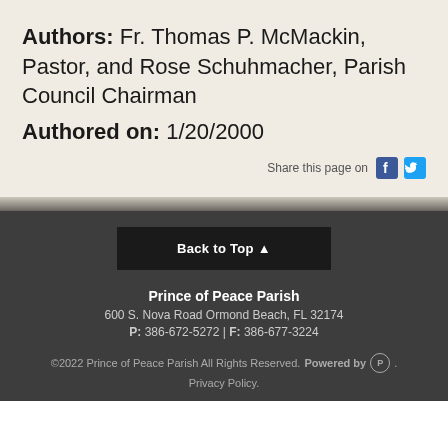Authors: Fr. Thomas P. McMackin, Pastor, and Rose Schuhmacher, Parish Council Chairman Authored on: 1/20/2000
Share this page on
Back to Top
Prince of Peace Parish 600 S. Nova Road Ormond Beach, FL 32174 P: 386-672-5272 | F: 386-677-3224 ©2022 Prince of Peace Parish All Rights Reserved. Powered by [PI]. Privacy Policy.